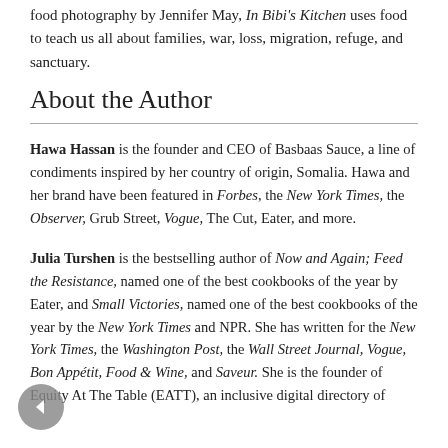food photography by Jennifer May, In Bibi's Kitchen uses food to teach us all about families, war, loss, migration, refuge, and sanctuary.
About the Author
Hawa Hassan is the founder and CEO of Basbaas Sauce, a line of condiments inspired by her country of origin, Somalia. Hawa and her brand have been featured in Forbes, the New York Times, the Observer, Grub Street, Vogue, The Cut, Eater, and more.
Julia Turshen is the bestselling author of Now and Again; Feed the Resistance, named one of the best cookbooks of the year by Eater, and Small Victories, named one of the best cookbooks of the year by the New York Times and NPR. She has written for the New York Times, the Washington Post, the Wall Street Journal, Vogue, Bon Appétit, Food & Wine, and Saveur. She is the founder of Equity At The Table (EATT), an inclusive digital directory of